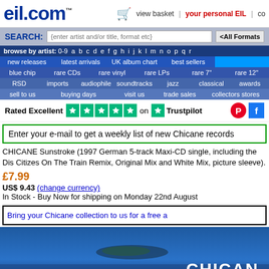eil.com™ | view basket | your personal EIL | co…
SEARCH: (enter artist and/or title, format etc) <All Formats>
browse by artist: 0-9 a b c d e f g h i j k l m n o p q r
new releases | latest arrivals | UK album chart | best sellers
blue chip | rare CDs | rare vinyl | rare LPs | rare 7" | rare 12"
RSD | imports | audiophile | soundtracks | jazz | classical | awards
sell to us | buying days | visit us | trade sales | collectors stores
Rated Excellent ★★★★★ on ★ Trustpilot
Enter your e-mail to get a weekly list of new Chicane records
CHICANE Sunstroke (1997 German 5-track Maxi-CD single, including the Dis Citizes On The Train Remix, Original Mix and White Mix, picture sleeve).
£7.99
US$ 9.43 (change currency)
In Stock - Buy Now for shipping on Monday 22nd August
Bring your Chicane collection to us for a free a…
[Figure (photo): Chicane album cover with blue ocean/island imagery and CHICANE text]